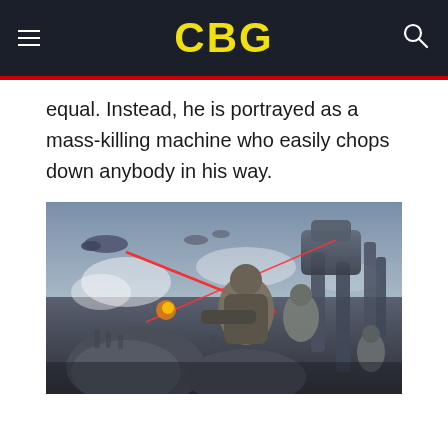CBG
equal. Instead, he is portrayed as a mass-killing machine who easily chops down anybody in his way.
[Figure (illustration): Science fiction battle scene with armored soldiers, large mechs or AT-AT walkers, spacecraft firing red laser beams, and explosions in a war-torn landscape.]